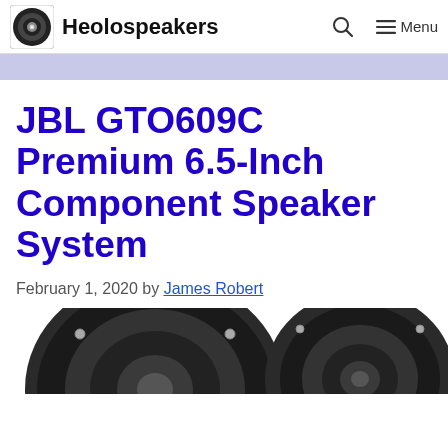Heolospeakers
JBL GTO609C Premium 6.5-Inch Component Speaker System
February 1, 2020 by James Robert
[Figure (photo): Photo of JBL GTO609C speaker components, showing speaker cones and drivers from above]